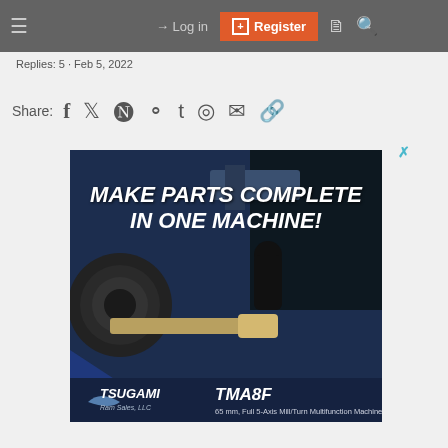≡  → Log in  ⊞ Register  🗎  🔍
Replies: 5 · Feb 5, 2022
Share: f  𝕏  reddit  pinterest  tumblr  whatsapp  mail  link
[Figure (photo): Tsugami TMA8F advertisement showing a CNC lathe mill-turn machine with headline 'MAKE PARTS COMPLETE IN ONE MACHINE!' and subtext '65 mm, Full 5-Axis Mill/Turn Multifunction Machine']